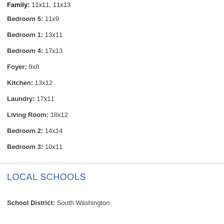Family: 11x11, 11x13
Bedroom 5: 11x9
Bedroom 1: 13x11
Bedroom 4: 17x13
Foyer: 9x8
Kitchen: 13x12
Laundry: 17x11
Living Room: 18x12
Bedroom 2: 14x14
Bedroom 3: 10x11
LOCAL SCHOOLS
School District: South Washington